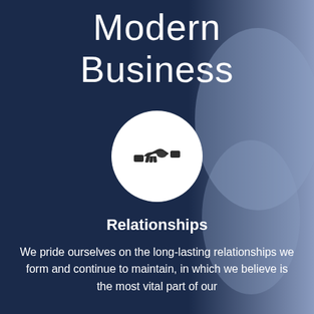Modern Business
[Figure (illustration): White circle with a dark handshake icon in the center, set against a dark navy blue background with a lighter blue silhouette on the right side.]
Relationships
We pride ourselves on the long-lasting relationships we form and continue to maintain, in which we believe is the most vital part of our